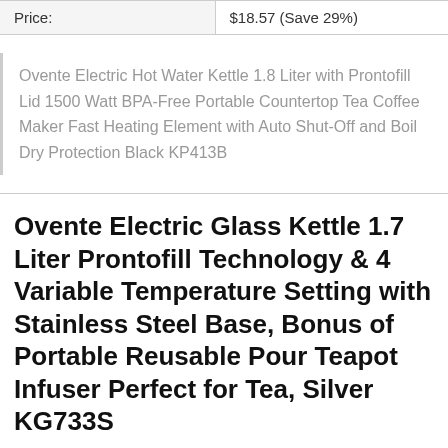| Price: | $18.57 (Save 29%) |
| --- | --- |
Ovente Electric Hot Water Kettle 1.8 Liter with Prontofill Lid 1500 Watt BPA-Free Portable Countertop Tea Coffee Maker Fast Heating Element with Auto Shut-Off and Boil Dry Protection Black KP413B
Ovente Electric Glass Kettle 1.7 Liter Prontofill Technology & 4 Variable Temperature Setting with Stainless Steel Base, Bonus of Portable Reusable Pour Teapot Infuser Perfect for Tea, Silver KG733S
[Figure (photo): Partial image of a silver electric glass kettle, cropped at the bottom of the page]